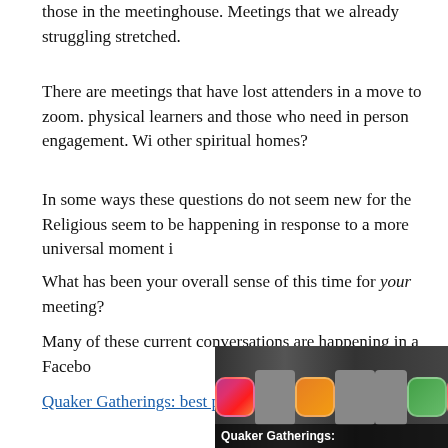those in the meetinghouse. Meetings that we already struggling stretched.
There are meetings that have lost attenders in a move to zoom. physical learners and those who need in person engagement. Wi other spiritual homes?
In some ways these questions do not seem new for the Religious seem to be happening in response to a more universal moment i
What has been your overall sense of this time for your meeting?
Many of these current conversations are happening in a Facebo
Quaker Gatherings: best practices and creative explorations
[Figure (screenshot): Screenshot of a Facebook group or social media page showing profile pictures/icons and the text 'Quaker Gatherings:' at the bottom]